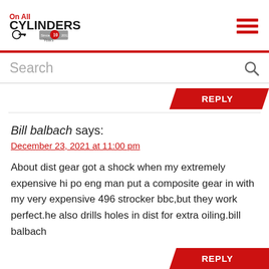[Figure (logo): On All Cylinders logo with '10 Years' badge]
[Figure (other): Hamburger menu icon with three red horizontal lines]
Search
REPLY
Bill balbach says:
December 23, 2021 at 11:00 pm
About dist gear got a shock when my extremely expensive hi po eng man put a composite gear in with my very expensive 496 strocker bbc,but they work perfect.he also drills holes in dist for extra oiling.bill balbach
REPLY